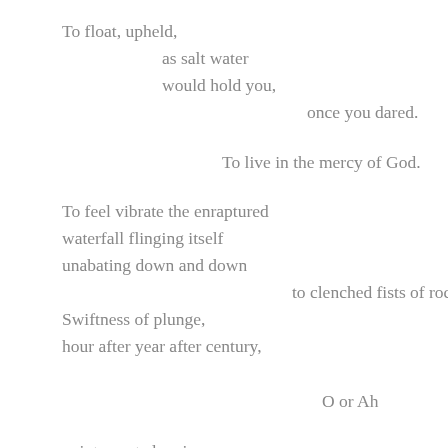To float, upheld,
    as salt water
    would hold you,
            once you dared.

        To live in the mercy of God.

To feel vibrate the enraptured
waterfall flinging itself
unabating down and down
            to clenched fists of rock.
Swiftness of plunge,
hour after year after century,

                        O or Ah

uninterrupted, voice